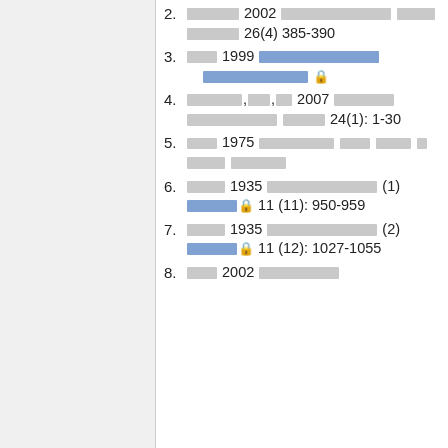2. [text] 2002 [text] [text] 26(4) 385-390
3. [text] 1999 [blue-link text] [lock]
4. [text],,[text] 2007 [text] [text] 24(1): 1-30
5. [text] 1975 [text] [text] [text] [text] [text]
6. [text] 1935 [text] (1) [blue-link text] [lock] 11 (11): 950-959
7. [text] 1935 [text] (2) [blue-link text] [lock] 11 (12): 1027-1055
8. [text] 2002 [text] ...